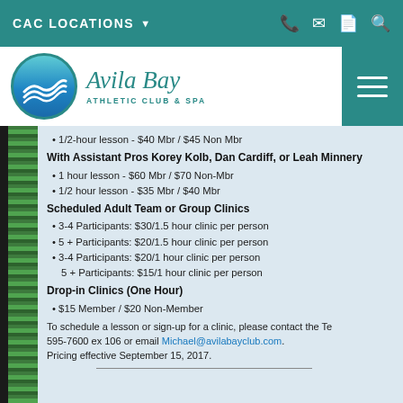CAC LOCATIONS
[Figure (logo): Avila Bay Athletic Club & Spa logo with teal circle containing wave lines]
1/2-hour lesson - $40 Mbr / $45 Non Mbr
With Assistant Pros Korey Kolb, Dan Cardiff, or Leah Minnery
1 hour lesson - $60 Mbr / $70 Non-Mbr
1/2 hour lesson - $35 Mbr / $40 Mbr
Scheduled Adult Team or Group Clinics
3-4 Participants: $30/1.5 hour clinic per person
5 + Participants: $20/1.5 hour clinic per person
3-4 Participants: $20/1 hour clinic per person
5 + Participants: $15/1 hour clinic per person
Drop-in Clinics (One Hour)
$15 Member / $20 Non-Member
To schedule a lesson or sign-up for a clinic, please contact the Te
595-7600 ex 106 or email Michael@avilabayclub.com.
Pricing effective September 15, 2017.